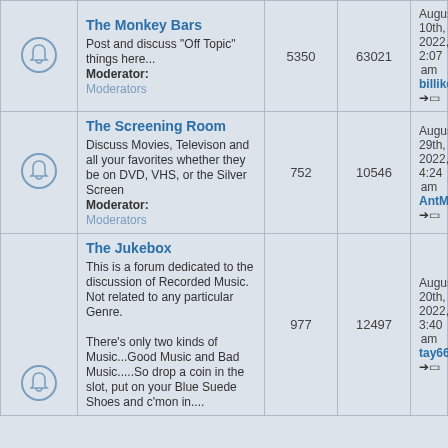|  | Forum | Topics | Posts | Last Post |
| --- | --- | --- | --- | --- |
| [bell icon] | The Monkey Bars
Post and discuss "Off Topic" things here...
Moderator: Moderators | 5350 | 63021 | August 10th, 2022, 2:07 am
billikenmonster → |
| [bell icon] | The Screening Room
Discuss Movies, Televison and all your favorites whether they be on DVD, VHS, or the Silver Screen
Moderator: Moderators | 752 | 10546 | August 29th, 2022, 4:24 am
AntMan → |
| [bell icon] | The Jukebox
This is a forum dedicated to the discussion of Recorded Music. Not related to any particular Genre.

There's only two kinds of Music...Good Music and Bad Music.....So drop a coin in the slot, put on your Blue Suede Shoes and c'mon in....
Moderator: | 977 | 12497 | August 20th, 2022, 3:40 am
tay666 → |